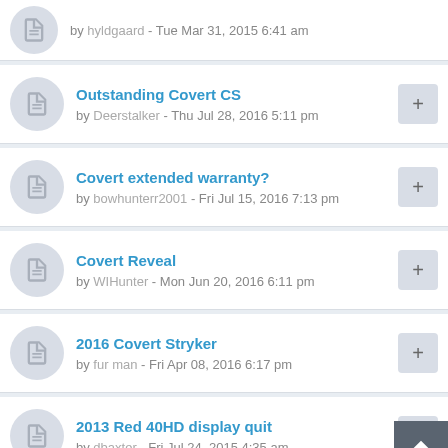by hyldgaard - Tue Mar 31, 2015 6:41 am
Outstanding Covert CS
by Deerstalker - Thu Jul 28, 2016 5:11 pm
Covert extended warranty?
by bowhunterr2001 - Fri Jul 15, 2016 7:13 pm
Covert Reveal
by WIHunter - Mon Jun 20, 2016 6:11 pm
2016 Covert Stryker
by fur man - Fri Apr 08, 2016 6:17 pm
2013 Red 40HD display quit
by dbaxter - Fri Jul 24, 2015 4:35 am
MP6 Issue/Question